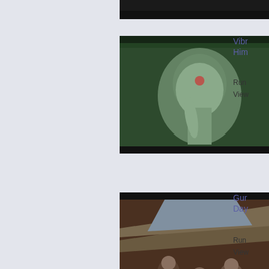[Figure (screenshot): Video thumbnail showing an elephant statue, partially cropped at top]
Vibr Him
Run View
[Figure (screenshot): Video thumbnail showing people in a tent on rugs]
Gur Day
Run View
1  2
All articles, books, pictures, and audio Opinions expressed in ar